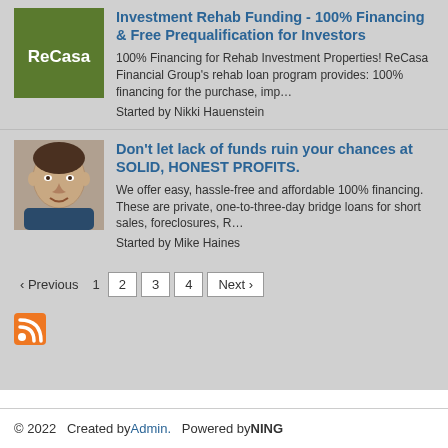[Figure (logo): ReCasa green logo square with white text ReCasa]
Investment Rehab Funding - 100% Financing & Free Prequalification for Investors
100% Financing for Rehab Investment Properties! ReCasa Financial Group's rehab loan program provides: 100% financing for the purchase, imp…
Started by Nikki Hauenstein
[Figure (photo): Profile photo of a man with dark hair]
Don't let lack of funds ruin your chances at SOLID, HONEST PROFITS.
We offer easy, hassle-free and affordable 100% financing. These are private, one-to-three-day bridge loans for short sales, foreclosures, R…
Started by Mike Haines
‹ Previous   1   2   3   4   Next ›
[Figure (other): RSS feed icon]
© 2022   Created by Admin.   Powered by NING